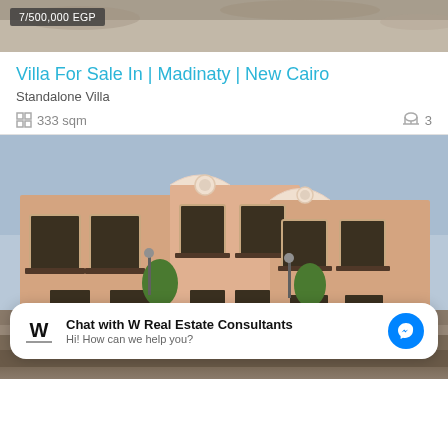[Figure (photo): Top cropped image of rocky/desert landscape with a dark overlay label partially visible showing price text]
Villa For Sale In | Madinaty | New Cairo
Standalone Villa
333 sqm   3
[Figure (photo): Photograph of a two-story peach/salmon colored villa with white ornamental trim, wrought iron balconies, and trees in front. A chat overlay bar appears at the bottom showing W Real Estate Consultants with a Messenger icon.]
Chat with W Real Estate Consultants
Hi! How can we help you?
[Figure (photo): Bottom portion of the villa photograph, showing garden/landscape area below the building]